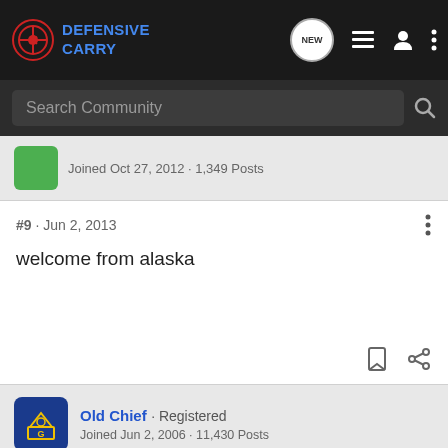Defensive Carry
Search Community
Joined Oct 27, 2012 · 1,349 Posts
#9 · Jun 2, 2013
welcome from alaska
Old Chief · Registered
Joined Jun 2, 2006 · 11,430 Posts